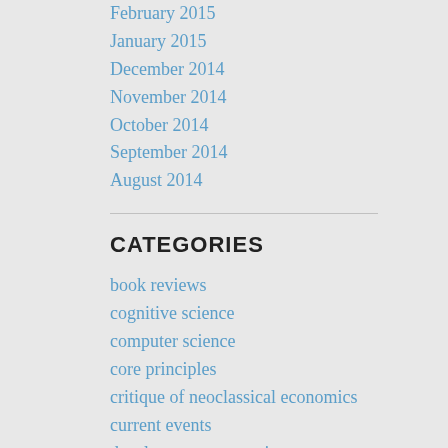February 2015
January 2015
December 2014
November 2014
October 2014
September 2014
August 2014
CATEGORIES
book reviews
cognitive science
computer science
core principles
critique of neoclassical economics
current events
development economics
education
ethics
experimental economics